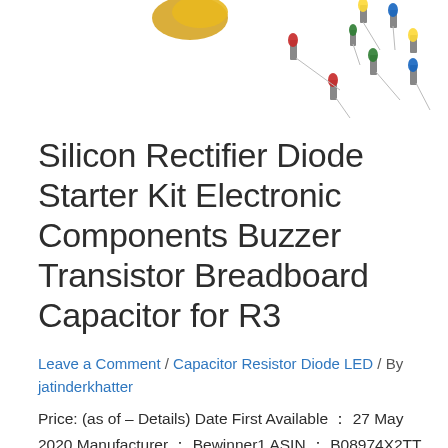[Figure (photo): Product photo showing colorful LED components, resistors, and electronic parts scattered on a white background, partially visible at top of page]
Silicon Rectifier Diode Starter Kit Electronic Components Buzzer Transistor Breadboard Capacitor for R3
Leave a Comment / Capacitor Resistor Diode LED / By jatinderkhatter
Price: (as of – Details) Date First Available ： 27 May 2020 Manufacturer ： Bewinner1 ASIN ： B08974X2TT Item part number ： Bewinner150hpuq82r1 Country of Origin ： China Manufacturer ： Bewinner1 Importer ： Cheng du yi mei jin ke ji